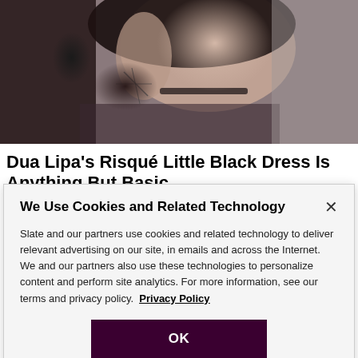[Figure (photo): Close-up photo of a woman with dark hair, tattoo visible on her upper arm/armpit area, wearing a dark choker or necklace, with arm raised. Appears to be a celebrity photo.]
Dua Lipa’s Risqué Little Black Dress Is Anything But Basic
E! Online | Sponsored
We Use Cookies and Related Technology
Slate and our partners use cookies and related technology to deliver relevant advertising on our site, in emails and across the Internet. We and our partners also use these technologies to personalize content and perform site analytics. For more information, see our terms and privacy policy.  Privacy Policy
OK